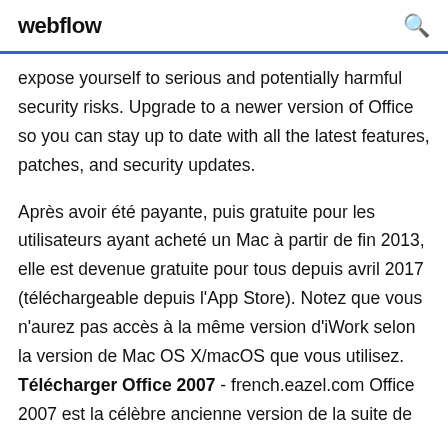webflow
expose yourself to serious and potentially harmful security risks. Upgrade to a newer version of Office so you can stay up to date with all the latest features, patches, and security updates.
Après avoir été payante, puis gratuite pour les utilisateurs ayant acheté un Mac à partir de fin 2013, elle est devenue gratuite pour tous depuis avril 2017 (téléchargeable depuis l'App Store). Notez que vous n'aurez pas accès à la même version d'iWork selon la version de Mac OS X/macOS que vous utilisez. Télécharger Office 2007 - french.eazel.com Office 2007 est la célèbre ancienne version de la suite de